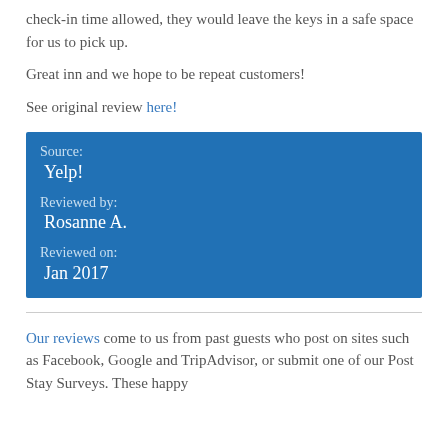check-in time allowed, they would leave the keys in a safe space for us to pick up.
Great inn and we hope to be repeat customers!
See original review here!
| Source: | Yelp! |
| Reviewed by: | Rosanne A. |
| Reviewed on: | Jan 2017 |
Our reviews come to us from past guests who post on sites such as Facebook, Google and TripAdvisor, or submit one of our Post Stay Surveys. These happy